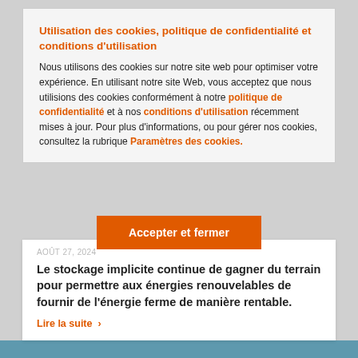Utilisation des cookies, politique de confidentialité et conditions d'utilisation
Nous utilisons des cookies sur notre site web pour optimiser votre expérience. En utilisant notre site Web, vous acceptez que nous utilisions des cookies conformément à notre politique de confidentialité et à nos conditions d'utilisation récemment mises à jour. Pour plus d'informations, ou pour gérer nos cookies, consultez la rubrique Paramètres des cookies.
Accepter et fermer
Le stockage implicite continue de gagner du terrain pour permettre aux énergies renouvelables de fournir de l'énergie ferme de manière rentable.
Lire la suite ›